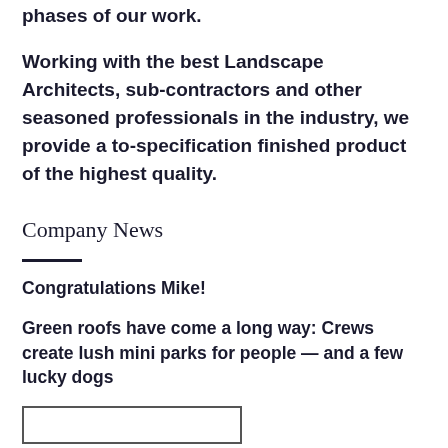phases of our work.
Working with the best Landscape Architects, sub-contractors and other seasoned professionals in the industry, we provide a to-specification finished product of the highest quality.
Company News
Congratulations Mike!
Green roofs have come a long way: Crews create lush mini parks for people — and a few lucky dogs
[Figure (photo): Image placeholder box at bottom of page]